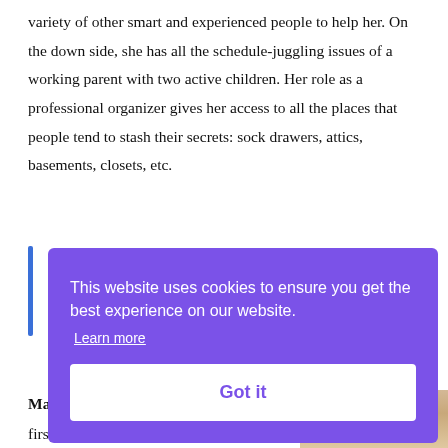variety of other smart and experienced people to help her. On the down side, she has all the schedule-juggling issues of a working parent with two active children. Her role as a professional organizer gives her access to all the places that people tend to stash their secrets: sock drawers, attics, basements, closets, etc.
[Figure (screenshot): Cookie consent overlay with purple background. Text: 'This website uses cookies to ensure you get the best experience on our website.' with 'Learn more' link and 'Got it' button.]
Ma...
firs...
books